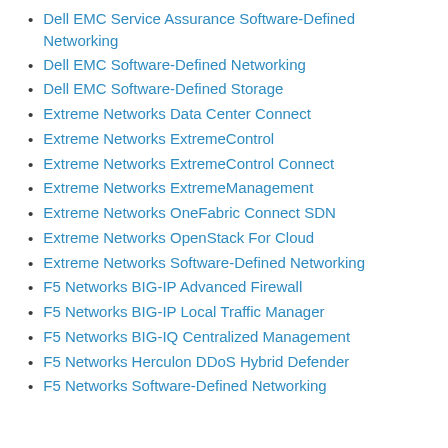Dell EMC Service Assurance Software-Defined Networking
Dell EMC Software-Defined Networking
Dell EMC Software-Defined Storage
Extreme Networks Data Center Connect
Extreme Networks ExtremeControl
Extreme Networks ExtremeControl Connect
Extreme Networks ExtremeManagement
Extreme Networks OneFabric Connect SDN
Extreme Networks OpenStack For Cloud
Extreme Networks Software-Defined Networking
F5 Networks BIG-IP Advanced Firewall
F5 Networks BIG-IP Local Traffic Manager
F5 Networks BIG-IQ Centralized Management
F5 Networks Herculon DDoS Hybrid Defender
F5 Networks Software-Defined Networking